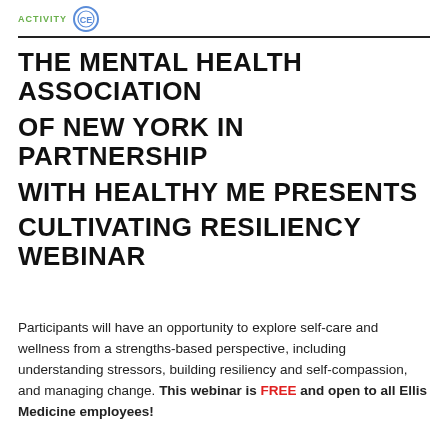ACTIVITY
THE MENTAL HEALTH ASSOCIATION OF NEW YORK IN PARTNERSHIP WITH HEALTHY ME PRESENTS CULTIVATING RESILIENCY WEBINAR
Participants will have an opportunity to explore self-care and wellness from a strengths-based perspective, including understanding stressors, building resiliency and self-compassion, and managing change. This webinar is FREE and open to all Ellis Medicine employees!